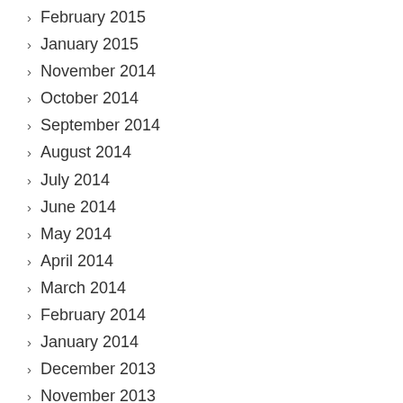February 2015
January 2015
November 2014
October 2014
September 2014
August 2014
July 2014
June 2014
May 2014
April 2014
March 2014
February 2014
January 2014
December 2013
November 2013
October 2013
September 2013
August 2013
July 2013
June 2013
May 2013
April 2013